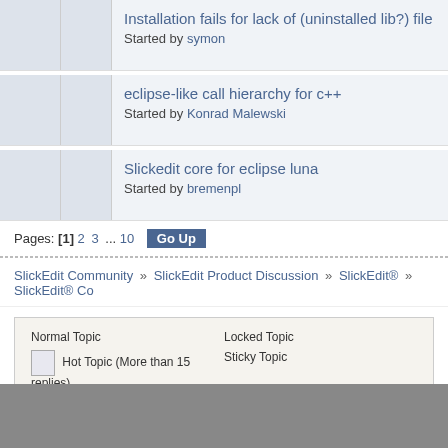Installation fails for lack of (uninstalled lib?) file
Started by symon
eclipse-like call hierarchy for c++
Started by Konrad Malewski
Slickedit core for eclipse luna
Started by bremenpl
Pages: [1] 2 3 ... 10 Go Up
SlickEdit Community » SlickEdit Product Discussion » SlickEdit® » SlickEdit® Co
Normal Topic   Locked Topic
Hot Topic (More than 15 replies)   Sticky Topic
Very Hot Topic (More than 25 replies)   Poll
SMF 2.0.18 | SMF © 2021, Simple Machines   XHTML RSS WAP2